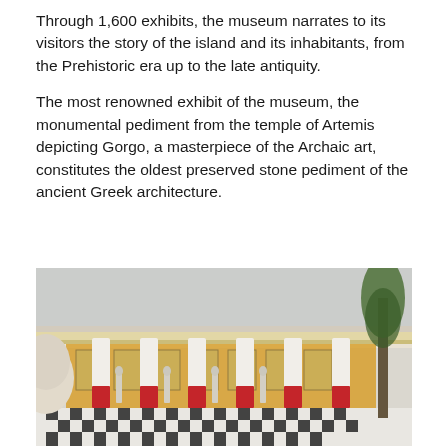Through 1,600 exhibits, the museum narrates to its visitors the story of the island and its inhabitants, from the Prehistoric era up to the late antiquity.
The most renowned exhibit of the museum, the monumental pediment from the temple of Artemis depicting Gorgo, a masterpiece of the Archaic art, constitutes the oldest preserved stone pediment of the ancient Greek architecture.
[Figure (photo): Exterior photograph of a neoclassical museum building with a colonnaded portico. The columns are white with red lower sections. Statues of female figures stand between the columns. The floor is a black and white checkerboard pattern. A large sculpted head is visible in the foreground left. A tall tree is on the right side.]